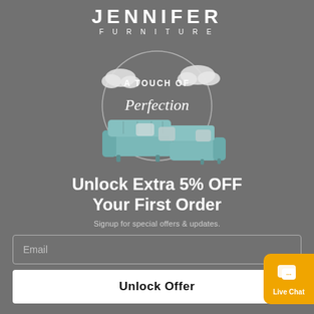[Figure (logo): Jennifer Furniture logo with brand name and tagline]
[Figure (illustration): Promotional image showing a teal sectional sofa with decorative pillows inside a circular frame with clouds and text 'A TOUCH OF Perfection']
Unlock Extra 5% OFF Your First Order
Signup for special offers & updates.
Email
Unlock Offer
[Figure (illustration): Live Chat button with chat bubble icon and 'Live Chat' label on orange background]